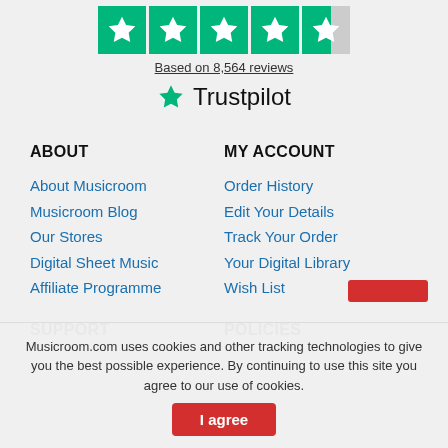[Figure (other): Trustpilot rating widget showing 4.5 stars out of 5, based on 8,564 reviews, with green star boxes and Trustpilot logo]
Based on 8,564 reviews
ABOUT
MY ACCOUNT
About Musicroom
Order History
Musicroom Blog
Edit Your Details
Our Stores
Track Your Order
Digital Sheet Music
Your Digital Library
Affiliate Programme
Wish List
SUPPORT
POLICIES
Musicroom.com uses cookies and other tracking technologies to give you the best possible experience. By continuing to use this site you agree to our use of cookies.
I agree